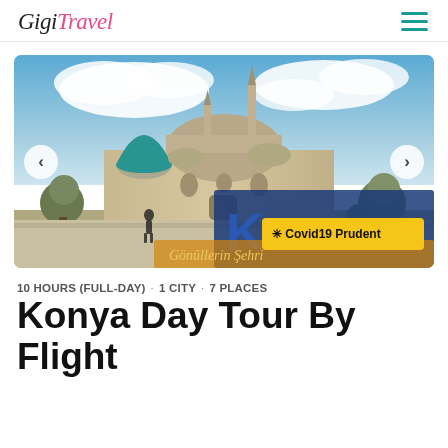Gigi Travel
[Figure (photo): Stone mosque/mausoleum building with turquoise dome and minaret in Konya, Turkey. Konya city sign visible in the foreground with ornamental bushes. Blue sky with white clouds.]
10 HOURS (FULL-DAY) · 1 CITY · 7 PLACES
Konya Day Tour By Flight